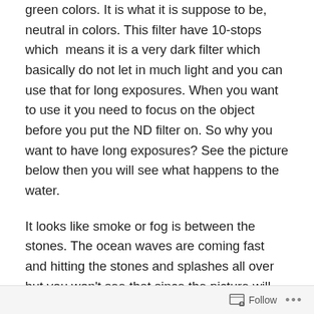green colors. It is what it is suppose to be, neutral in colors. This filter have 10-stops which  means it is a very dark filter which basically do not let in much light and you can use that for long exposures. When you want to use it you need to focus on the object before you put the ND filter on. So why you want to have long exposures? See the picture below then you will see what happens to the water.
It looks like smoke or fog is between the stones. The ocean waves are coming fast and hitting the stones and splashes all over but you won't see that since the picture will make the moving objects look more smooth. When you have a long exposure the camera captures everything that happens within the limited time you want and it
Follow ···